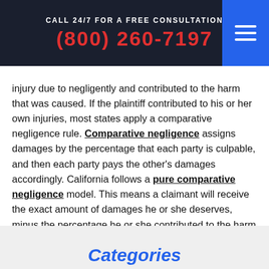CALL 24/7 FOR A FREE CONSULTATION
(800) 260-7197
injury due to negligently and contributed to the harm that was caused. If the plaintiff contributed to his or her own injuries, most states apply a comparative negligence rule. Comparative negligence assigns damages by the percentage that each party is culpable, and then each party pays the other's damages accordingly. California follows a pure comparative negligence model. This means a claimant will receive the exact amount of damages he or she deserves, minus the percentage he or she contributed to the harm caused. Hence, if you are at fault 20% and the defendant is at fault 80%, you will recover 80% of your damages.
Categories